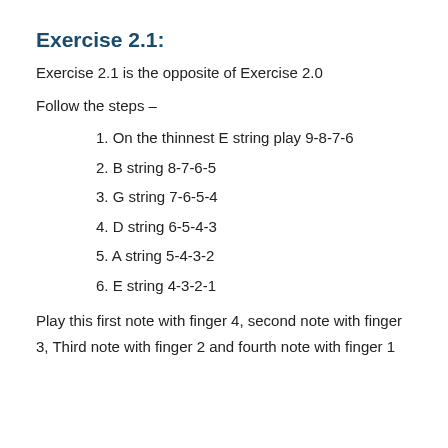Exercise 2.1:
Exercise 2.1 is the opposite of Exercise 2.0
Follow the steps –
1. On the thinnest E string play 9-8-7-6
2. B string 8-7-6-5
3. G string 7-6-5-4
4. D string 6-5-4-3
5. A string 5-4-3-2
6. E string 4-3-2-1
Play this first note with finger 4, second note with finger 3, Third note with finger 2 and fourth note with finger 1